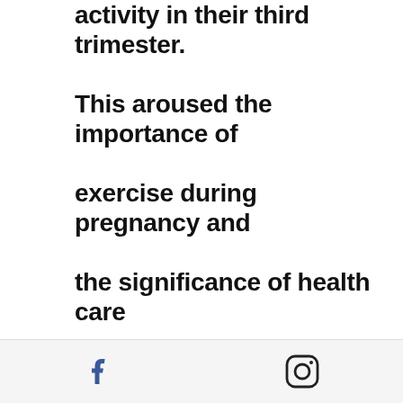activity in their third trimester. This aroused the importance of exercise during pregnancy and the significance of health care administrators encouraging women to be active during this time.  Those who achieved the recommended guidelines for
[Figure (other): Footer bar with Facebook and Instagram social media icons]